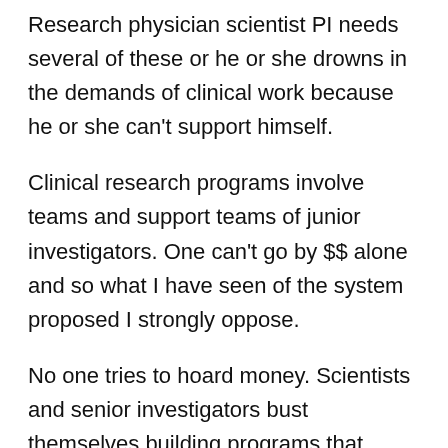Research physician scientist PI needs several of these or he or she drowns in the demands of clinical work because he or she can't support himself.
Clinical research programs involve teams and support teams of junior investigators. One can't go by $$ alone and so what I have seen of the system proposed I strongly oppose.
No one tries to hoard money. Scientists and senior investigators bust themselves building programs that support teams and the peer review system with PI effort as stands already limits ovwrcommitment.
Please make sure the clinical Physician scientist ( a dying breed) who